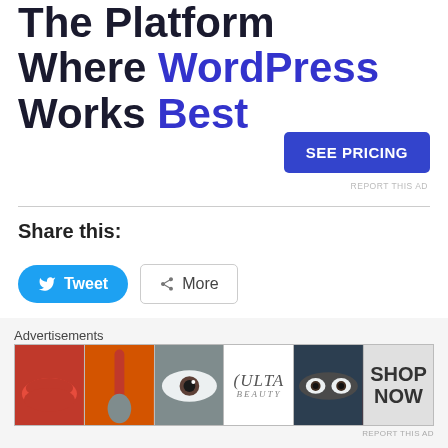The Platform Where WordPress Works Best
[Figure (other): SEE PRICING button (blue rounded rectangle)]
REPORT THIS AD
Share this:
[Figure (other): Tweet button (blue pill) and More button (outlined)]
Loading...
Advertisements
[Figure (other): ULTA Beauty advertisement banner with cosmetic images and SHOP NOW call to action]